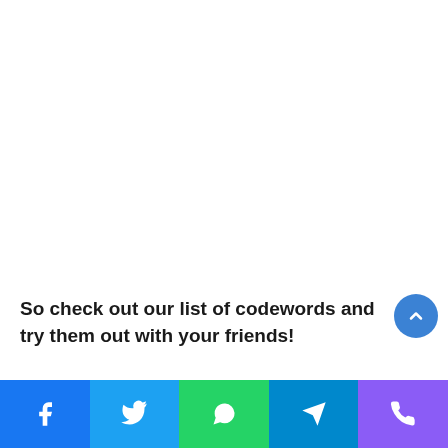So check out our list of codewords and try them out with your friends!
[Figure (other): Social media share bar with Facebook, Twitter, WhatsApp, Telegram, and Phone icons]